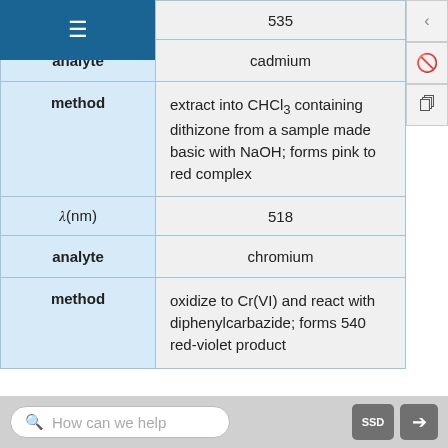| Property | Value |
| --- | --- |
| \(\lambda\) (nm) | 535 |
| analyte | cadmium |
| method | extract into CHCl3 containing dithizone from a sample made basic with NaOH; forms pink to red complex |
| \(\lambda\) (nm) | 518 |
| analyte | chromium |
| method | oxidize to Cr(VI) and react with diphenylcarbazide; forms 540 red-violet product |